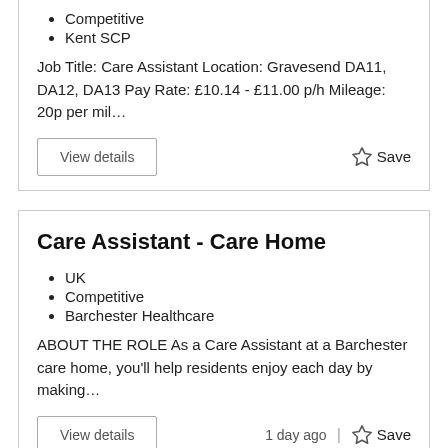Competitive
Kent SCP
Job Title: Care Assistant Location: Gravesend DA11, DA12, DA13 Pay Rate: £10.14 - £11.00 p/h Mileage: 20p per mil…
Care Assistant - Care Home
UK
Competitive
Barchester Healthcare
ABOUT THE ROLE As a Care Assistant at a Barchester care home, you'll help residents enjoy each day by making…